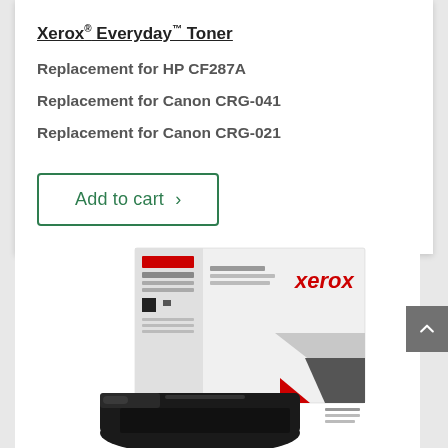Xerox® Everyday™ Toner
Replacement for HP CF287A
Replacement for Canon CRG-041
Replacement for Canon CRG-021
Add to cart >
[Figure (photo): Xerox toner cartridge product with box showing Xerox branding, partially visible product label, and toner cartridge in front]